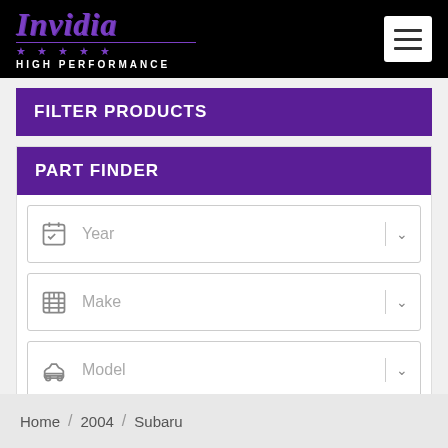Invidia HIGH PERFORMANCE
FILTER PRODUCTS
PART FINDER
Year
Make
Model
FIND
Home / 2004 / Subaru